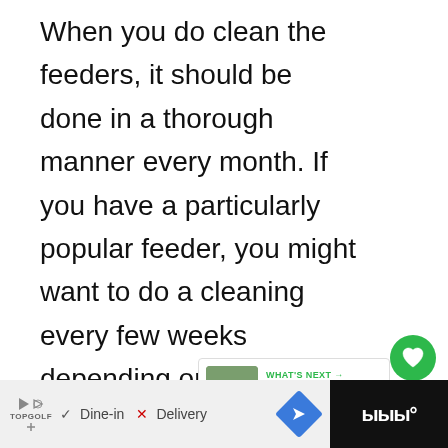When you do clean the feeders, it should be done in a thorough manner every month. If you have a particularly popular feeder, you might want to do a cleaning every few weeks depending on how much seed you go through and how many birds there are.
[Figure (infographic): Green circular like/heart button with count of 140 below it, and a share button beneath]
[Figure (infographic): What's Next panel showing a bird thumbnail with text 'How to Keep Mourning...']
[Figure (infographic): Advertisement bar at bottom: TopGolf ad with Dine-in checkmark and Delivery X, navigation icon, and dark right section with sound wave icon]